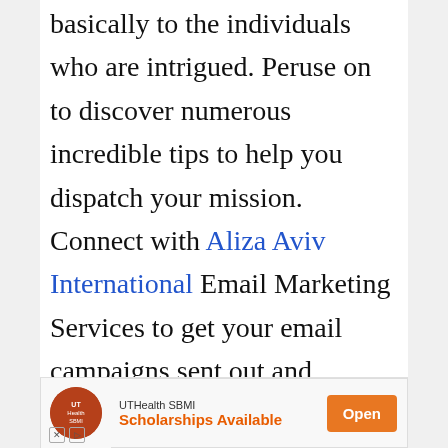basically to the individuals who are intrigued. Peruse on to discover numerous incredible tips to help you dispatch your mission.

Connect with Aliza Aviv International Email Marketing Services to get your email campaigns sent out and effectively managed.
[Figure (other): Advertisement banner for UTHealth SBMI Scholarships Available with an Open button]